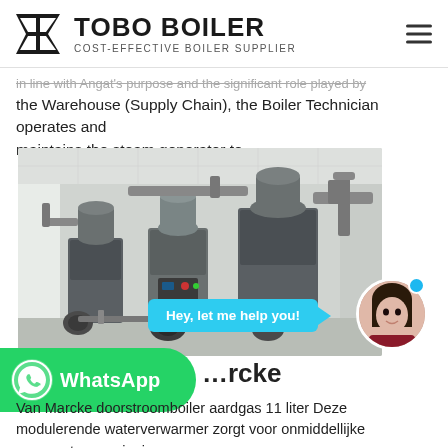TOBO BOILER — COST-EFFECTIVE BOILER SUPPLIER
in line with Angat's purpose and the significant role played by the Warehouse (Supply Chain), the Boiler Technician operates and maintains the steam generator to …
[Figure (photo): Industrial boiler room with multiple steam generators and piping systems in a white-walled facility. Overlay chat bubble reads 'Hey, let me help you!' with avatar of a young woman.]
[Figure (logo): WhatsApp green button bar with phone icon and 'WhatsApp' text]
…rcke
Van Marcke doorstroomboiler aardgas 11 liter Deze modulerende waterverwarmer zorgt voor onmiddellijke warmwatervoorziening